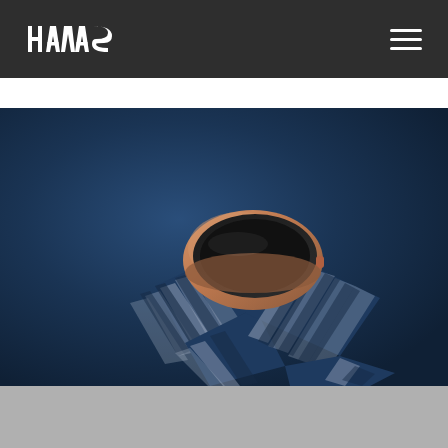HAVAS
[Figure (photo): Close-up product photo of a smartwatch (Fitbit-style) with a rose gold / copper colored case and a navy blue patterned woven fabric band on a dark blue gradient background.]